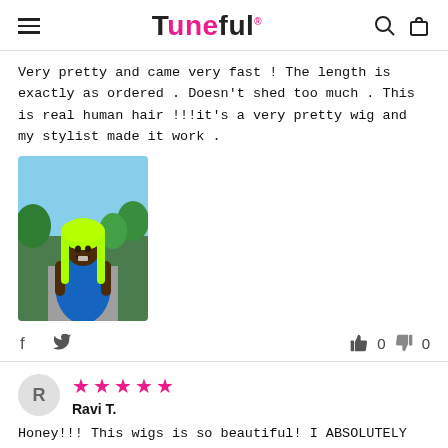Tuneful
Very pretty and came very fast ! The length is exactly as ordered . Doesn't shed too much . This is real human hair !!!it's a very pretty wig and my stylist made it work .
[Figure (photo): Woman wearing a bright neon green wig and blue dress, smiling outdoors]
f  [twitter icon]   [thumbs up] 0  [thumbs down] 0
★★★★★ Ravi T. — Honey!!! This wigs is so beautiful! I ABSOLUTELY FREAKING LOVE THIS WIG it's so soft, no shedding and the length is very true !!! Im most definitely going to be... Read more